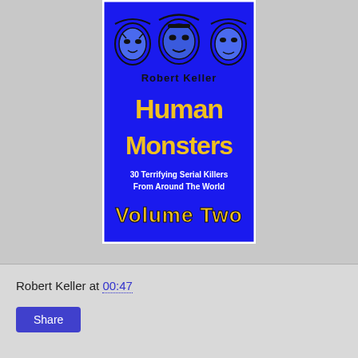[Figure (illustration): Book cover for 'Human Monsters: 30 Terrifying Serial Killers From Around The World, Volume Two' by Robert Keller. Blue background with illustrated faces of men at the top; large yellow bold text reading 'Human Monsters'; white text '30 Terrifying Serial Killers From Around The World'; yellow stylized text 'Volume Two' at the bottom.]
Robert Keller at 00:47
Share